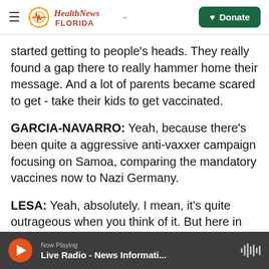Health News Florida — Donate
started getting to people's heads. They really found a gap there to really hammer home their message. And a lot of parents became scared to get - take their kids to get vaccinated.
GARCIA-NAVARRO: Yeah, because there's been quite a aggressive anti-vaxxer campaign focusing on Samoa, comparing the mandatory vaccines now to Nazi Germany.
LESA: Yeah, absolutely. I mean, it's quite outrageous when you think of it. But here in Samoa, really, you don't - you're not hearing a lot of people
Now Playing — Live Radio - News Informati...